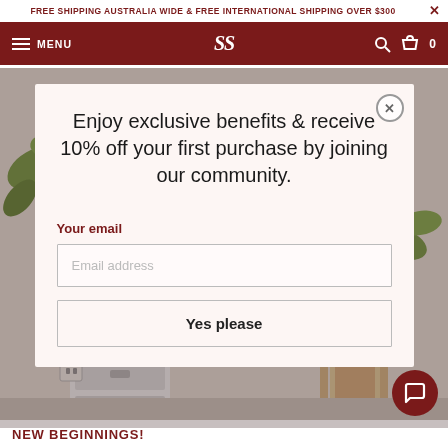FREE SHIPPING AUSTRALIA WIDE & FREE INTERNATIONAL SHIPPING OVER $300
MENU SS 0
[Figure (screenshot): Workshop/studio background photo showing a sewing machine on a desk with drawers, plants, and shelving in the background]
Enjoy exclusive benefits & receive 10% off your first purchase by joining our community.
Your email
Email address
Yes please
NEW BEGINNINGS!